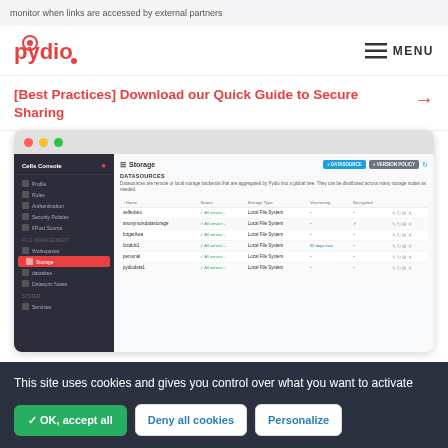monitor when links are accessed by external partners
[Figure (logo): Pydio logo in red with circle dot]
[Best Practices] Download our Quick Guide to Secure Sharing
[Figure (screenshot): Pydio Cells Console showing Storage datasources management interface with a sidebar navigation and a table listing datasources: selfedsko, anonymoisdatastorage, forgetAwa, localds1, personal, pydiodata1]
This site uses cookies and gives you control over what you want to activate